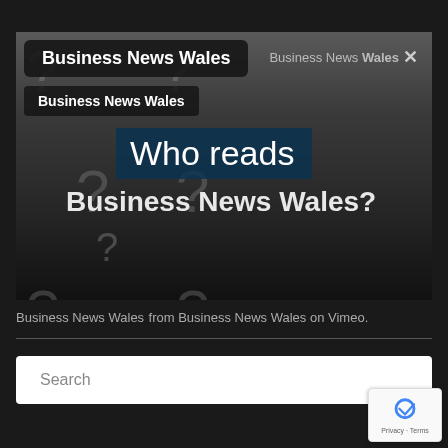[Figure (screenshot): Embedded video player showing 'Who reads Business News Wales?' promotional video with dark background and question mark decorations. Contains Business News Wales title bar at top left, Wales logo at top right, and sub-navigation bar.]
Business News Wales from Business News Wales on Vimeo.
Search